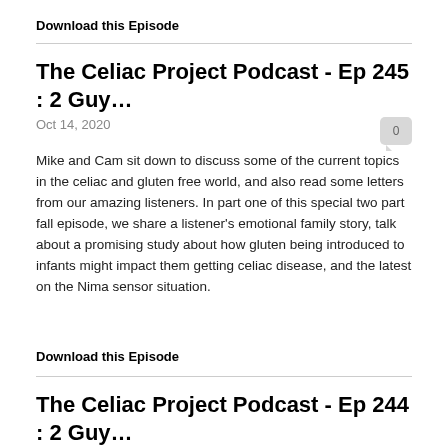Download this Episode
The Celiac Project Podcast - Ep 245 : 2 Guy…
Oct 14, 2020
Mike and Cam sit down to discuss some of the current topics in the celiac and gluten free world, and also read some letters from our amazing listeners. In part one of this special two part fall episode, we share a listener's emotional family story, talk about a promising study about how gluten being introduced to infants might impact them getting celiac disease, and the latest on the Nima sensor situation.
Download this Episode
The Celiac Project Podcast - Ep 244 : 2 Guy…